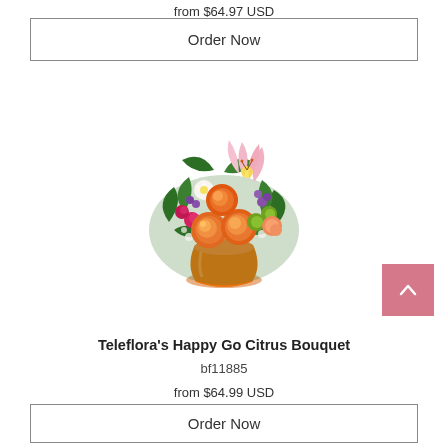from $64.97 USD
Order Now
[Figure (photo): Teleflora's Happy Go Citrus Bouquet - colorful floral arrangement with orange roses, pink lilies, pink alstroemeria, hot pink spray roses, green button mums, purple statice, and baby's breath in an orange vase]
Teleflora's Happy Go Citrus Bouquet
bf11885
from $64.99 USD
Order Now